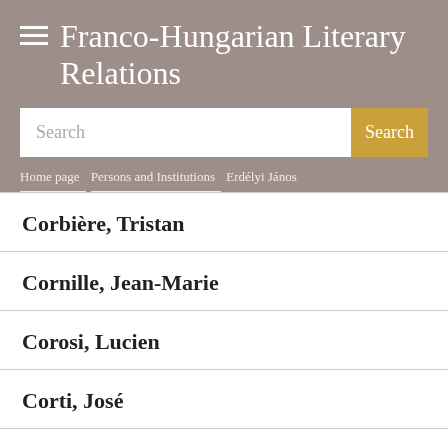Franco-Hungarian Literary Relations
Search
Home page / Persons and Institutions / Erdélyi János
Corbière, Tristan
Cornille, Jean-Marie
Corosi, Lucien
Corti, José